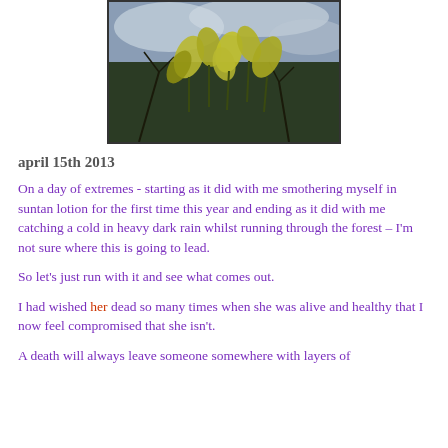[Figure (photo): Photograph of drooping yellow-green flowers or wilted plants against a cloudy sky, viewed from below, with bare branches visible.]
april 15th 2013
On a day of extremes - starting as it did with me smothering myself in suntan lotion for the first time this year and ending as it did with me catching a cold in heavy dark rain whilst running through the forest – I'm not sure where this is going to lead.
So let's just run with it and see what comes out.
I had wished her dead so many times when she was alive and healthy that I now feel compromised that she isn't.
A death will always leave someone somewhere with layers of